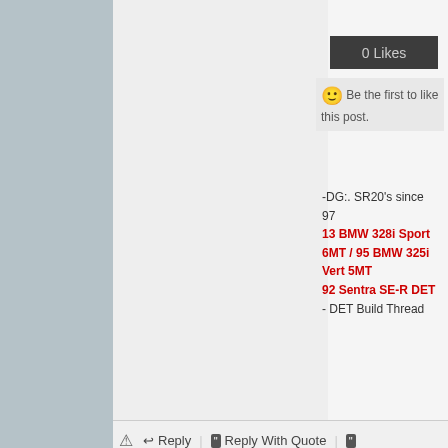[Figure (screenshot): Forum post interface showing likes box with '0 Likes', smiley emoji with 'Be the first to like this post.' text, and user signature with cars listed in red]
-DG:. SR20's since 97
13 BMW 328i Sport 6MT / 95 BMW 325i Vert 5MT
92 Sentra SE-R DET
- DET Build Thread
Reply | Reply With Quote
2012-07-20 04:29:05  #8
unijabnx2000
This will not end well
Join Date: 2008-01-01
Location: NC
Posts: 5,447
maybe they are just a big scam.... THink about it.
Sell broken trans, just to have you warranty return it, keeping your money.
And then they sell the same broken one to another person to...